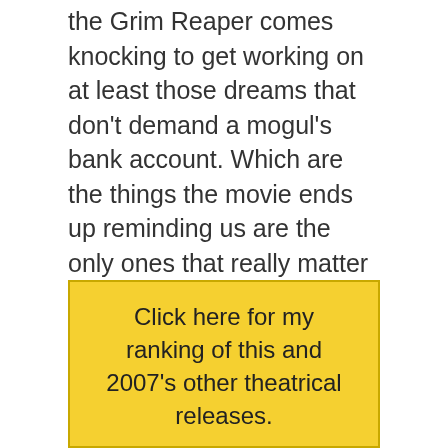the Grim Reaper comes knocking to get working on at least those dreams that don't demand a mogul's bank account. Which are the things the movie ends up reminding us are the only ones that really matter anyway.
But you knew that was coming, too.
(Technorati tags: Bucket List, Rob Reiner, Jack Nicholson, Morgan Freeman)
2007 theatrical releases, reviews
Click here for my ranking of this and 2007's other theatrical releases.